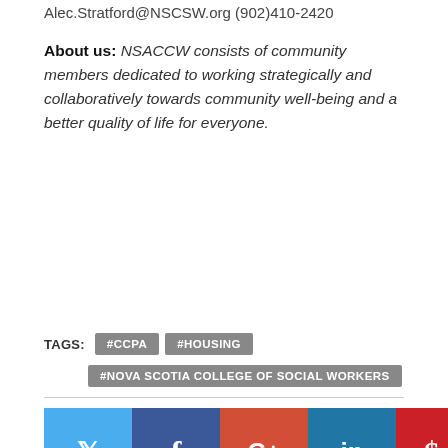Alec.Stratford@NSCSW.org (902)410-2420
About us: NSACCW consists of community members dedicated to working strategically and collaboratively towards community well-being and a better quality of life for everyone.
TAGS: #CCPA #HOUSING #NOVA SCOTIA COLLEGE OF SOCIAL WORKERS
[Figure (other): Social media sharing buttons: Twitter, Facebook, Google+, LinkedIn, Pinterest, Email]